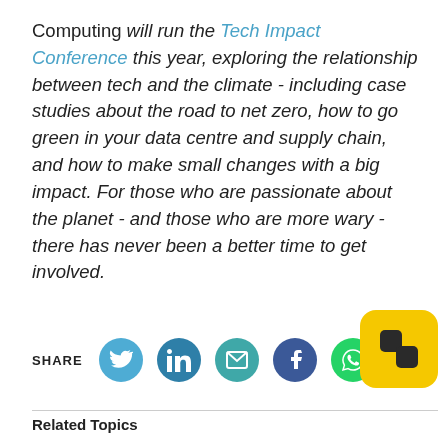Computing will run the Tech Impact Conference this year, exploring the relationship between tech and the climate - including case studies about the road to net zero, how to go green in your data centre and supply chain, and how to make small changes with a big impact. For those who are passionate about the planet - and those who are more wary - there has never been a better time to get involved.
SHARE [Twitter] [LinkedIn] [Email] [Facebook] [WhatsApp]
Related Topics